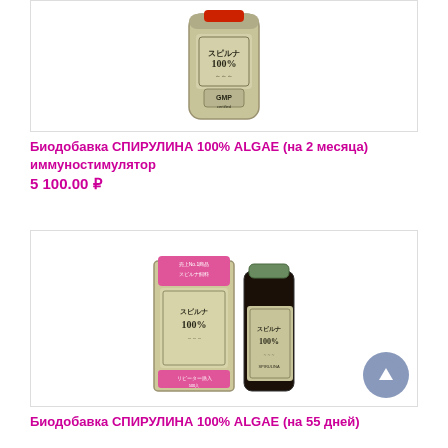[Figure (photo): Product photo: Spirulina 100% ALGAE supplement in a gold/beige resealable pouch with Japanese text and GMP certification mark]
Биодобавка СПИРУЛИНА 100% ALGAE (на 2 месяца) иммуностимулятор
5 100.00 ₽
[Figure (photo): Product photo: Spirulina 100% ALGAE supplement box (gold/beige with pink label 'No.1 product') and dark glass bottle with green lid, Japanese text on both]
Биодобавка СПИРУЛИНА 100% ALGAE (на 55 дней)